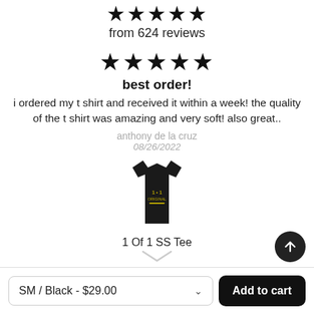★★★★★
from 624 reviews
★★★★★
best order!
i ordered my t shirt and received it within a week! the quality of the t shirt was amazing and very soft! also great..
anthony de la cruz
08/26/2022
[Figure (photo): Black t-shirt with gold graphic print]
1 Of 1 SS Tee
SM / Black - $29.00
Add to cart